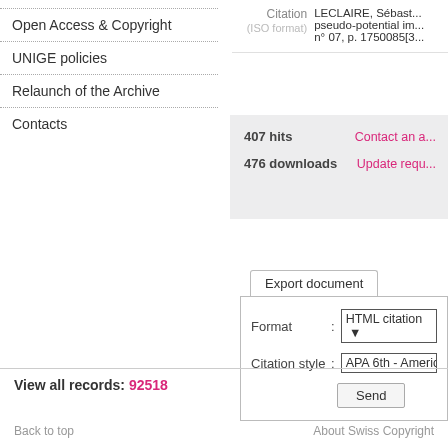Open Access & Copyright
UNIGE policies
Relaunch of the Archive
Contacts
Citation (ISO format)   LECLAIRE, Sébast... pseudo-potential im... n° 07, p. 1750085[3...
407 hits
476 downloads
Contact an a...
Update requ...
Export document
Format : HTML citation
Citation style : APA 6th - America...
Send
View all records: 92518
Back to top    About Swiss Copyright